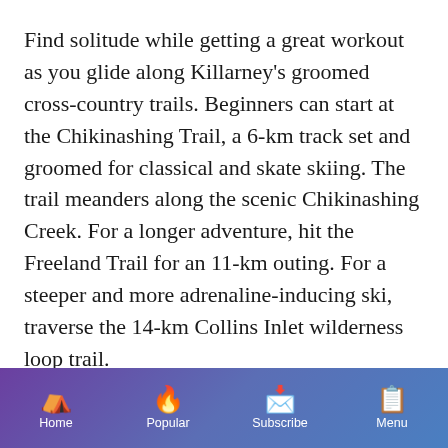Find solitude while getting a great workout as you glide along Killarney's groomed cross-country trails. Beginners can start at the Chikinashing Trail, a 6-km track set and groomed for classical and skate skiing. The trail meanders along the scenic Chikinashing Creek. For a longer adventure, hit the Freeland Trail for an 11-km outing. For a steeper and more adrenaline-inducing ski, traverse the 14-km Collins Inlet wilderness loop trail.
Want to rent cross-country skiis or
Home | Popular | Subscribe | Menu